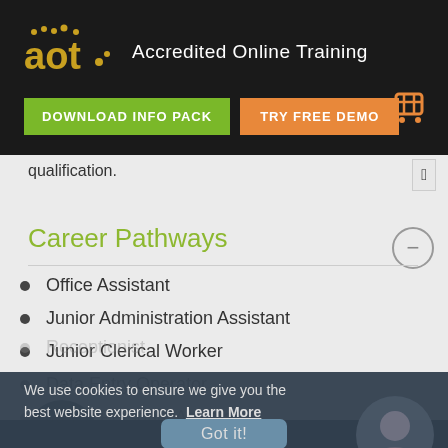aot. Accredited Online Training
DOWNLOAD INFO PACK
TRY FREE DEMO
qualification.
&#xf550;
Career Pathways
Office Assistant
Junior Administration Assistant
Junior Clerical Worker
Data Entry Operator
Junior Personal Assistant
Receptionist
We use cookies to ensure we give you the best website experience. Learn More
Got it!